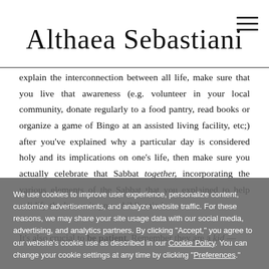Althaea Sebastiani
explain the interconnection between all life, make sure that you live that awareness (e.g. volunteer in your local community, donate regularly to a food pantry, read books or organize a game of Bingo at an assisted living facility, etc;) after you've explained why a particular day is considered holy and its implications on one's life, then make sure you actually celebrate that Sabbat together, incorporating the various elements of the Sabbat that you explained to help solidify the lesson in your child's mind.

It's also crucial to be patient. Remember they are a kid — copy continues below cookie overlay — basic terms, but even then, your child is not going to understand what you're talking about the same way that you do — and that's a good thing! Your child is a unique individual,
We use cookies to improve user experience, personalize content, customize advertisements, and analyze website traffic. For these reasons, we may share your site usage data with our social media, advertising, and analytics partners. By clicking "Accept," you agree to our website's cookie use as described in our Cookie Policy. You can change your cookie settings at any time by clicking "Preferences."